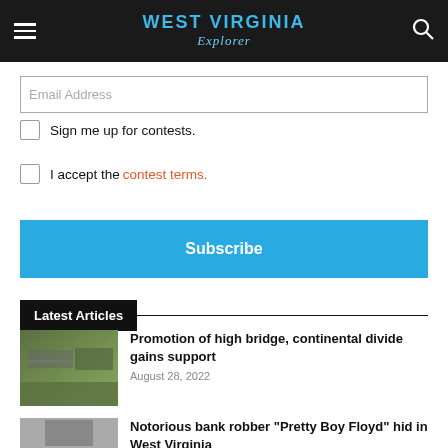WEST VIRGINIA Explorer
Email Address
Sign me up for contests.
I accept the contest terms.
Subscribe
Latest Articles
Promotion of high bridge, continental divide gains support
August 28, 2022
Notorious bank robber "Pretty Boy Floyd" hid in West Virginia